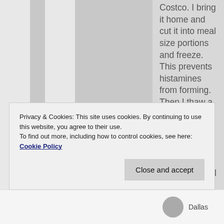Costco. I bring it home and cut it into meal size portions and freeze. This prevents histamines from forming. Then I thaw a portion each night in the fridge and grind it fresh just before eating. I eat all my meat raw. Cooked meat and fat makes me very ill.
Privacy & Cookies: This site uses cookies. By continuing to use this website, you agree to their use.
To find out more, including how to control cookies, see here: Cookie Policy
Close and accept
Dallas